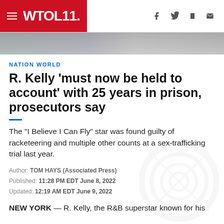WTOL 11
[Figure (photo): Partial photo strip showing persons, partially cropped]
NATION WORLD
R. Kelly 'must now be held to account' with 25 years in prison, prosecutors say
The "I Believe I Can Fly" star was found guilty of racketeering and multiple other counts at a sex-trafficking trial last year.
Author: TOM HAYS (Associated Press)
Published: 11:28 PM EDT June 8, 2022
Updated: 12:19 AM EDT June 9, 2022
NEW YORK — R. Kelly, the R&B superstar known for his